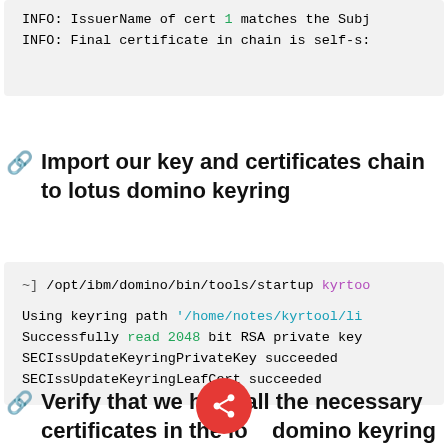INFO: IssuerName of cert 1 matches the Subj
INFO: Final certificate in chain is self-s:
Import our key and certificates chain to lotus domino keyring
~] /opt/ibm/domino/bin/tools/startup kyrtoo
Using keyring path '/home/notes/kyrtool/li
Successfully read 2048 bit RSA private key
SECIssUpdateKeyringPrivateKey succeeded
SECIssUpdateKeyringLeafCert succeeded
Verify that we have all the necessary certificates in the lotus domino keyring